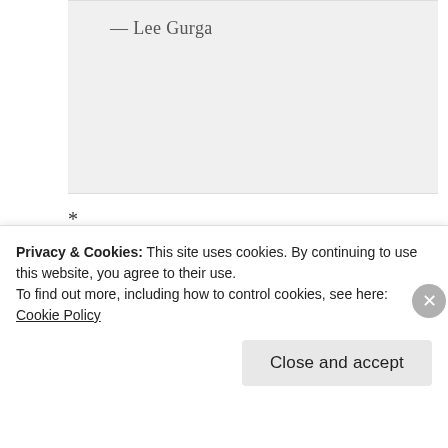— Lee Gurga
*
Heron's Nest also published last week and is also full of wonderful haiku. Here are a couple that particularly struck me (and I just noticed they both mention the wind, what's that about?):
Privacy & Cookies: This site uses cookies. By continuing to use this website, you agree to their use.
To find out more, including how to control cookies, see here: Cookie Policy
Close and accept